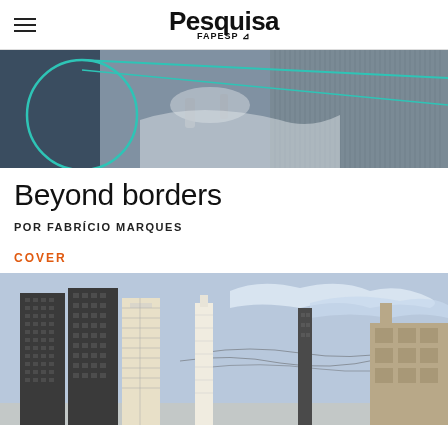Pesquisa FAPESP
[Figure (photo): Black and white photo of medical/surgical procedure with teal circular overlay graphic]
Beyond borders
POR FABRÍCIO MARQUES
COVER
[Figure (illustration): Illustrated cityscape with tall buildings and blue sky with stylized clouds]